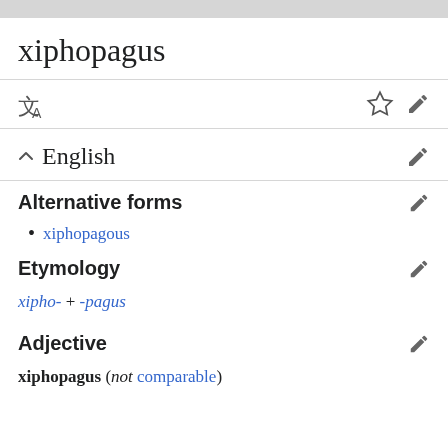xiphopagus
English
Alternative forms
xiphopagous
Etymology
xipho- + -pagus
Adjective
xiphopagus (not comparable)